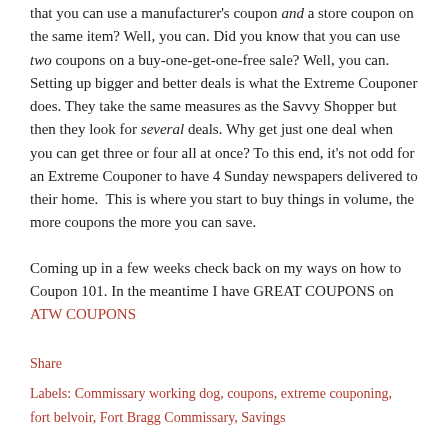that you can use a manufacturer's coupon and a store coupon on the same item? Well, you can. Did you know that you can use two coupons on a buy-one-get-one-free sale? Well, you can. Setting up bigger and better deals is what the Extreme Couponer does. They take the same measures as the Savvy Shopper but then they look for several deals. Why get just one deal when you can get three or four all at once? To this end, it's not odd for an Extreme Couponer to have 4 Sunday newspapers delivered to their home. This is where you start to buy things in volume, the more coupons the more you can save.
Coming up in a few weeks check back on my ways on how to Coupon 101. In the meantime I have GREAT COUPONS on ATW COUPONS
Share
Labels: Commissary working dog, coupons, extreme couponing, fort belvoir, Fort Bragg Commissary, Savings